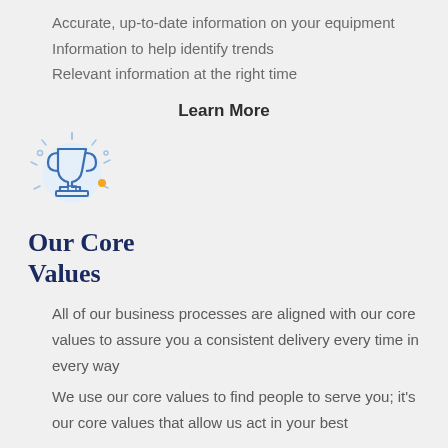Accurate, up-to-date information on your equipment
Information to help identify trends
Relevant information at the right time
Learn More
[Figure (illustration): Trophy cup icon with light rays and sparkles, in blue and light blue tones with a small orange/yellow dot accent]
Our Core Values
All of our business processes are aligned with our core values to assure you a consistent delivery every time in every way
We use our core values to find people to serve you; it's our core values that allow us act in your best